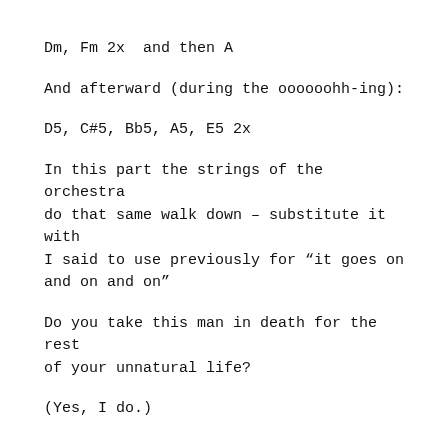Dm, Fm 2x  and then A
And afterward (during the oooooohh-ing):
D5, C#5, Bb5, A5, E5 2x
In this part the strings of the orchestra do that same walk down – substitute it with
I said to use previously for “it goes on and on and on”
Do you take this man in death for the rest of your unnatural life?
(Yes, I do.)